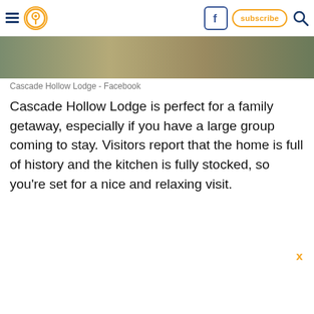Cascade Hollow Lodge navigation header with hamburger menu, location pin, Facebook button, subscribe button, and search icon
[Figure (photo): Partial view of Cascade Hollow Lodge exterior or interior, muted green and brown tones]
Cascade Hollow Lodge - Facebook
Cascade Hollow Lodge is perfect for a family getaway, especially if you have a large group coming to stay. Visitors report that the home is full of history and the kitchen is fully stocked, so you're set for a nice and relaxing visit.
x